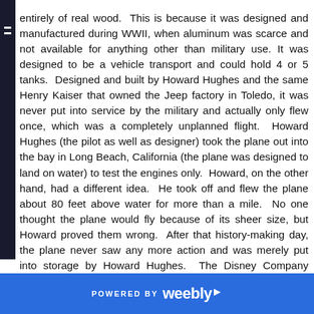entirely of real wood.  This is because it was designed and manufactured during WWII, when aluminum was scarce and not available for anything other than military use. It was designed to be a vehicle transport and could hold 4 or 5 tanks.  Designed and built by Howard Hughes and the same Henry Kaiser that owned the Jeep factory in Toledo, it was never put into service by the military and actually only flew once, which was a completely unplanned flight.  Howard Hughes (the pilot as well as designer) took the plane out into the bay in Long Beach, California (the plane was designed to land on water) to test the engines only.  Howard, on the other hand, had a different idea.  He took off and flew the plane about 80 feet above water for more than a mile.  No one thought the plane would fly because of its sheer size, but Howard proved them wrong.  After that history-making day, the plane never saw any more action and was merely put into storage by Howard Hughes.  The Disney Company bought it from the Hughes estate and later sold it to the Evergreen Museum, where it now stands.  The Evergreen Museum also houses other WWII planes, and has an entire building
POWERED BY weebly